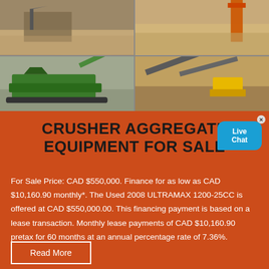[Figure (photo): Four-photo grid showing crusher aggregate equipment and mining operations: top-left shows earthmoving/quarry scene with sandy terrain and machinery structure; top-right shows aerial view of quarry/mining site with orange crane equipment; bottom-left shows green mobile crushing/screening plant on tracks; bottom-right shows conveyor belts and yellow crushing equipment at a quarry site.]
CRUSHER AGGREGATE EQUIPMENT FOR SALE
For Sale Price: CAD $550,000. Finance for as low as CAD $10,160.90 monthly*. The Used 2008 ULTRAMAX 1200-25CC is offered at CAD $550,000.00. This financing payment is based on a lease transaction. Monthly lease payments of CAD $10,160.90 pretax for 60 months at an annual percentage rate of 7.36%.
Read More